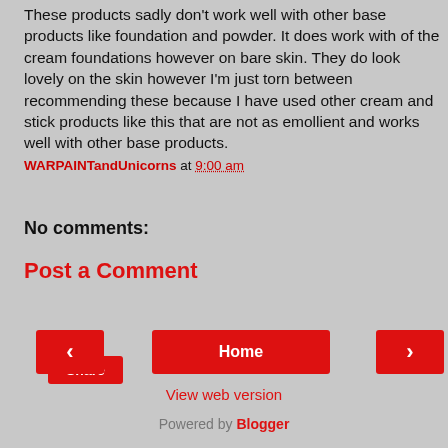These products sadly don't work well with other base products like foundation and powder. It does work with of the cream foundations however on bare skin. They do look lovely on the skin however I'm just torn between recommending these because I have used other cream and stick products like this that are not as emollient and works well with other base products.
WARPAINTandUnicorns at 9:00 am
Share
No comments:
Post a Comment
‹
Home
›
View web version
Powered by Blogger